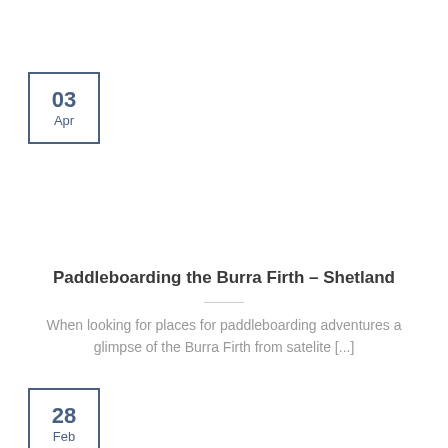[Figure (other): Date box showing 03 Apr]
Paddleboarding the Burra Firth – Shetland
When looking for places for paddleboarding adventures a glimpse of the Burra Firth from satelite [...]
[Figure (other): Date box showing 28 Feb]